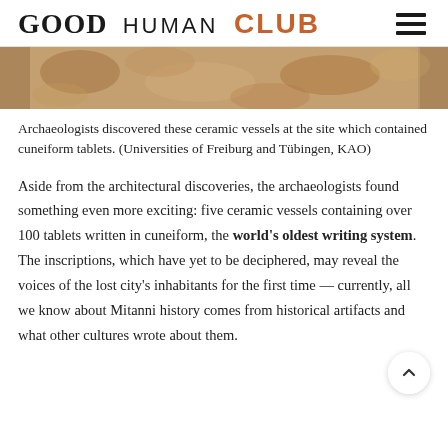GOOD HUMAN CLUB
[Figure (photo): Close-up photograph of ceramic vessels/pottery fragments at an archaeological site, showing rough earth-toned clay surfaces.]
Archaeologists discovered these ceramic vessels at the site which contained cuneiform tablets. (Universities of Freiburg and Tübingen, KAO)
Aside from the architectural discoveries, the archaeologists found something even more exciting: five ceramic vessels containing over 100 tablets written in cuneiform, the world's oldest writing system. The inscriptions, which have yet to be deciphered, may reveal the voices of the lost city's inhabitants for the first time — currently, all we know about Mitanni history comes from historical artifacts and what other cultures wrote about them.